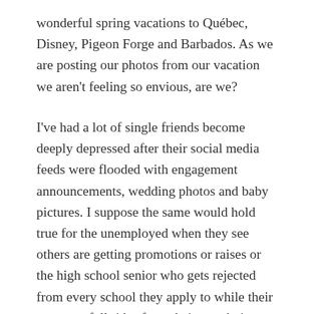wonderful spring vacations to Québec, Disney, Pigeon Forge and Barbados. As we are posting our photos from our vacation we aren't feeling so envious, are we?
I've had a lot of single friends become deeply depressed after their social media feeds were flooded with engagement announcements, wedding photos and baby pictures. I suppose the same would hold true for the unemployed when they see others are getting promotions or raises or the high school senior who gets rejected from every school they apply to while their peers get full rides from their top choices.
As someone who is active in the theatre arts, the opportunities to be jealous are omnipresent. It is especially difficult in a tight-knit community, where the people you are competing with are really friends. A